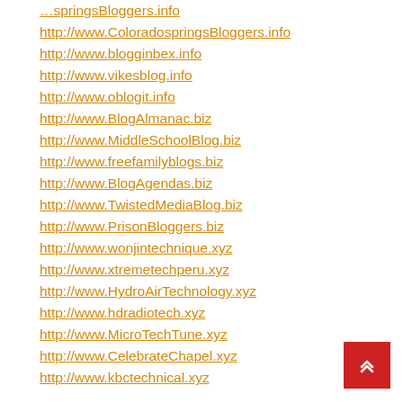http://www.ColoradospringsBloggers.info
http://www.blogginbex.info
http://www.vikesblog.info
http://www.oblogit.info
http://www.BlogAlmanac.biz
http://www.MiddleSchoolBlog.biz
http://www.freefamilyblogs.biz
http://www.BlogAgendas.biz
http://www.TwistedMediaBlog.biz
http://www.PrisonBloggers.biz
http://www.wonjintechnique.xyz
http://www.xtremetechperu.xyz
http://www.HydroAirTechnology.xyz
http://www.hdradiotech.xyz
http://www.MicroTechTune.xyz
http://www.CelebrateChapel.xyz
http://www.kbctechnical.xyz